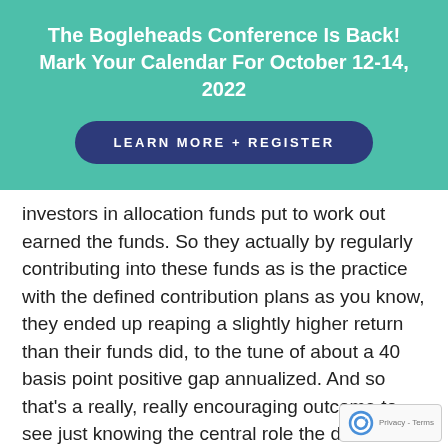The Bogleheads Conference Is Back! Mark Your Calendar For October 12-14, 2022
LEARN MORE + REGISTER
investors in allocation funds put to work out earned the funds. So they actually by regularly contributing into these funds as is the practice with the defined contribution plans as you know, they ended up reaping a slightly higher return than their funds did, to the tune of about a 40 basis point positive gap annualized. And so that's a really, really encouraging outcome to see just knowing the central role the defined contribution